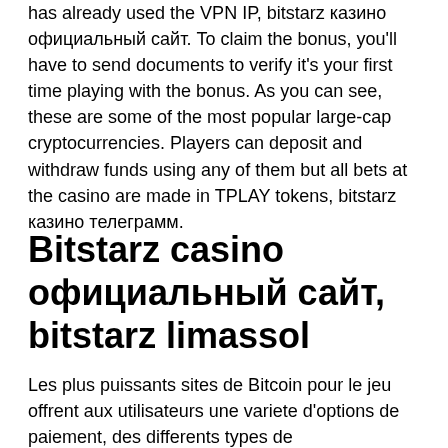has already used the VPN IP, bitstarz казино официальный сайт. To claim the bonus, you'll have to send documents to verify it's your first time playing with the bonus. As you can see, these are some of the most popular large-cap cryptocurrencies. Players can deposit and withdraw funds using any of them but all bets at the casino are made in TPLAY tokens, bitstarz казино телеграмм.
Bitstarz casino официальный сайт, bitstarz limassol
Les plus puissants sites de Bitcoin pour le jeu offrent aux utilisateurs une variete d'options de paiement, des differents types de cryptocurrencies aux cartes de credit classiques et aux mecanismes de transfert cybernetique de fonds, bitstarz казино официальный сайт вход. Ce n'est pas seulement le taux le montant le pourcentage